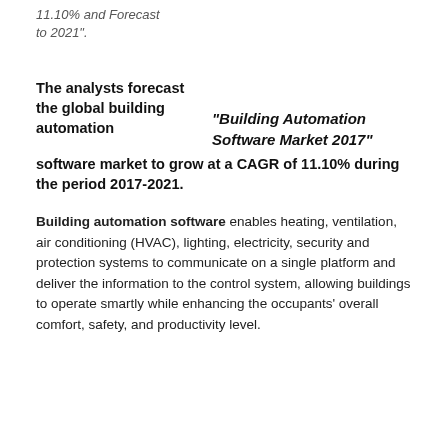11.10% and Forecast to 2021".
The analysts forecast the global building automation software market to grow at a CAGR of 11.10% during the period 2017-2021.
“Building Automation Software Market 2017”
Building automation software enables heating, ventilation, air conditioning (HVAC), lighting, electricity, security and protection systems to communicate on a single platform and deliver the information to the control system, allowing buildings to operate smartly while enhancing the occupants’ overall comfort, safety, and productivity level.